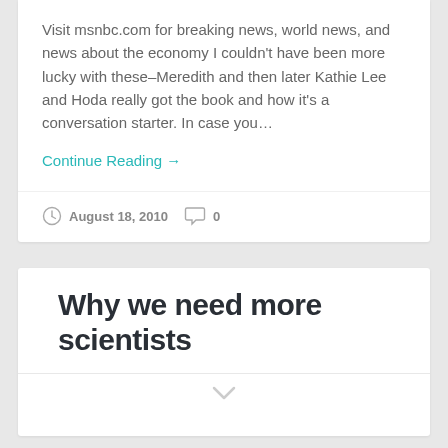Visit msnbc.com for breaking news, world news, and news about the economy I couldn't have been more lucky with these–Meredith and then later Kathie Lee and Hoda really got the book and how it's a conversation starter. In case you…
Continue Reading →
August 18, 2010   0
Why we need more scientists